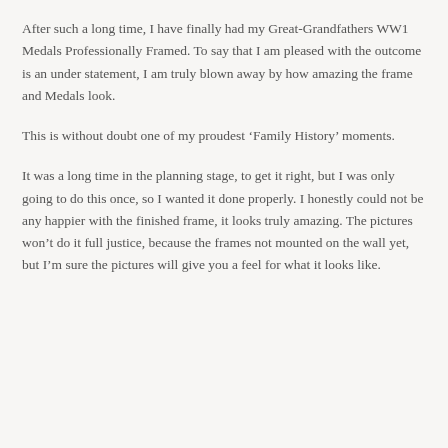After such a long time, I have finally had my Great-Grandfathers WW1 Medals Professionally Framed. To say that I am pleased with the outcome is an under statement, I am truly blown away by how amazing the frame and Medals look.
This is without doubt one of my proudest ‘Family History’ moments.
It was a long time in the planning stage, to get it right, but I was only going to do this once, so I wanted it done properly. I honestly could not be any happier with the finished frame, it looks truly amazing. The pictures won’t do it full justice, because the frames not mounted on the wall yet, but I’m sure the pictures will give you a feel for what it looks like.